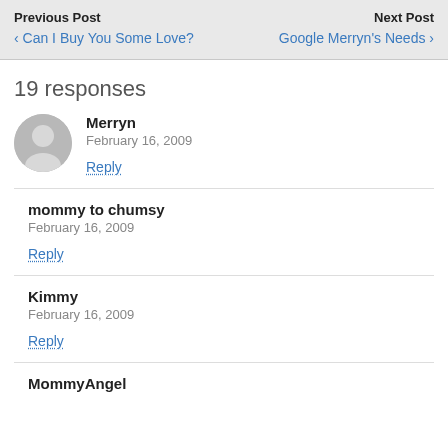Previous Post | Can I Buy You Some Love? | Next Post | Google Merryn's Needs
19 responses
Merryn
February 16, 2009
Reply
mommy to chumsy
February 16, 2009
Reply
Kimmy
February 16, 2009
Reply
MommyAngel